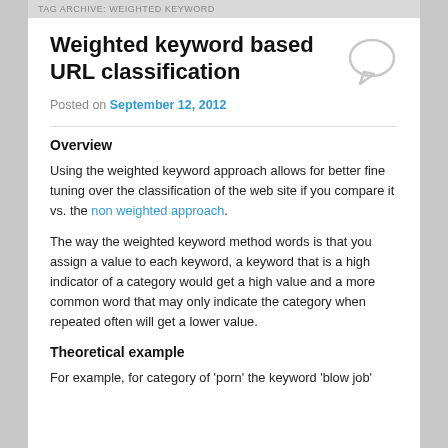TAG ARCHIVE: WEIGHTED KEYWORD
Weighted keyword based URL classification
Posted on September 12, 2012
Overview
Using the weighted keyword approach allows for better fine tuning over the classification of the web site if you compare it vs. the non weighted approach.
The way the weighted keyword method words is that you assign a value to each keyword, a keyword that is a high indicator of a category would get a high value and a more common word that may only indicate the category when repeated often will get a lower value.
Theoretical example
For example, for category of 'porn' the keyword 'blow job'